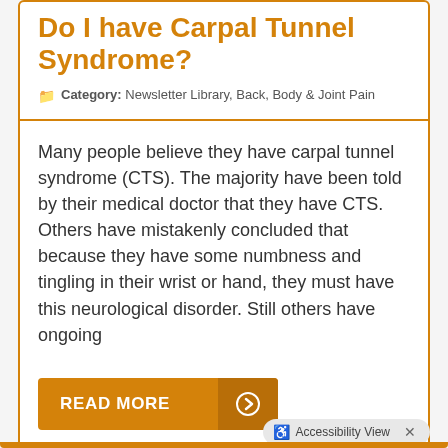Do I have Carpal Tunnel Syndrome?
Category: Newsletter Library, Back, Body & Joint Pain
Many people believe they have carpal tunnel syndrome (CTS). The majority have been told by their medical doctor that they have CTS. Others have mistakenly concluded that because they have some numbness and tingling in their wrist or hand, they must have this neurological disorder. Still others have ongoing
READ MORE